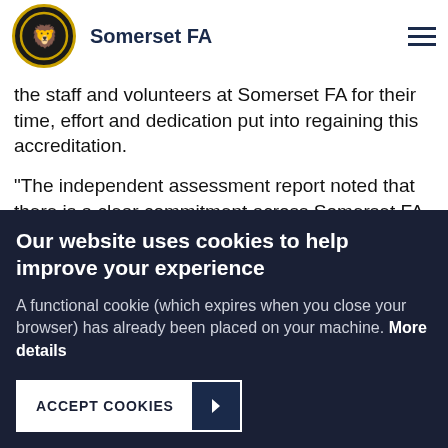Somerset FA
the staff and volunteers at Somerset FA for their time, effort and dedication put into regaining this accreditation.
"The independent assessment report noted that there is a clear commitment across Somerset FA to ensure diversity and equality are embedded across it's activities on and off the pitch. Much of the CFAs activity has been informed by its equality monitoring, and staff and Board have been well
Our website uses cookies to help improve your experience
A functional cookie (which expires when you close your browser) has already been placed on your machine. More details
ACCEPT COOKIES